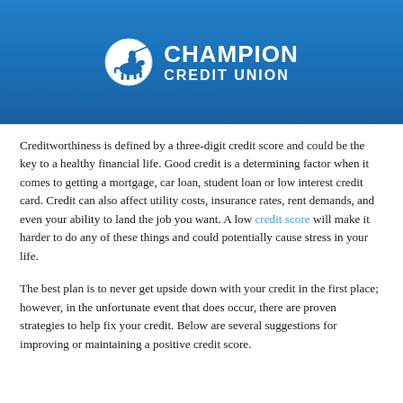[Figure (logo): Champion Credit Union banner — blue gradient background with circular knight on horseback logo and bold white text reading CHAMPION CREDIT UNION]
Creditworthiness is defined by a three-digit credit score and could be the key to a healthy financial life. Good credit is a determining factor when it comes to getting a mortgage, car loan, student loan or low interest credit card. Credit can also affect utility costs, insurance rates, rent demands, and even your ability to land the job you want. A low credit score will make it harder to do any of these things and could potentially cause stress in your life.
The best plan is to never get upside down with your credit in the first place; however, in the unfortunate event that does occur, there are proven strategies to help fix your credit. Below are several suggestions for improving or maintaining a positive credit score.